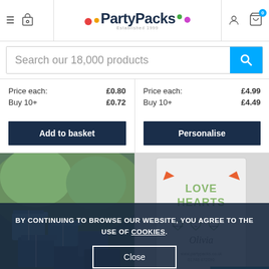PartyPacks — Established 1999 — Navigation header with menu, phone, account and cart icons
Search our 18,000 products
Price each: £0.80
Buy 10+ £0.72
Add to basket
Price each: £4.99
Buy 10+ £4.49
Personalise
[Figure (photo): Blue gift boxes with ribbon outdoors on a table]
[Figure (photo): Love Hearts personalised card product showing 'Thank you for coming' hearts with name Olivia]
BY CONTINUING TO BROWSE OUR WEBSITE, YOU AGREE TO THE USE OF COOKIES.
Close
EXCLUSIVE